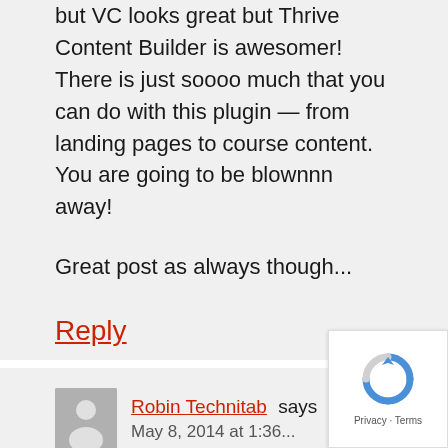but VC looks great but Thrive Content Builder is awesomer! There is just soooo much that you can do with this plugin — from landing pages to course content. You are going to be blownnn away!
Great post as always though...
Reply
Robin Technitab says
May 8, 2014 at 1:36...